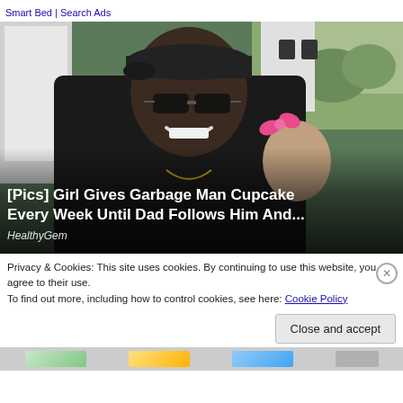Smart Bed | Search Ads
[Figure (photo): Photo of a man wearing sunglasses and a black cap smiling with a young girl who has a pink bow in her hair, appearing to be in a vehicle]
[Pics] Girl Gives Garbage Man Cupcake Every Week Until Dad Follows Him And...
HealthyGem
Privacy & Cookies: This site uses cookies. By continuing to use this website, you agree to their use.
To find out more, including how to control cookies, see here: Cookie Policy
Close and accept